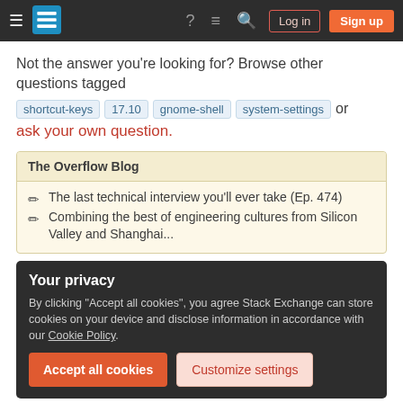Navigation bar with Stack Exchange logo, Login and Sign up buttons
Not the answer you're looking for? Browse other questions tagged shortcut-keys 17.10 gnome-shell system-settings or ask your own question.
The Overflow Blog
The last technical interview you'll ever take (Ep. 474)
Combining the best of engineering cultures from Silicon Valley and Shanghai...
Your privacy
By clicking "Accept all cookies", you agree Stack Exchange can store cookies on your device and disclose information in accordance with our Cookie Policy.
Related